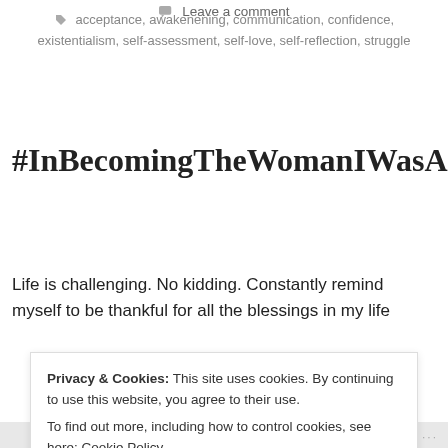acceptance, awakenening, communication, confidence, existentialism, self-assessment, self-love, self-reflection, struggle
Leave a comment
#InBecomingTheWomanIWasAlway
Life is challenging. No kidding. Constantly remind myself to be thankful for all the blessings in my life
Privacy & Cookies: This site uses cookies. By continuing to use this website, you agree to their use. To find out more, including how to control cookies, see here: Cookie Policy
Close and accept
Follow